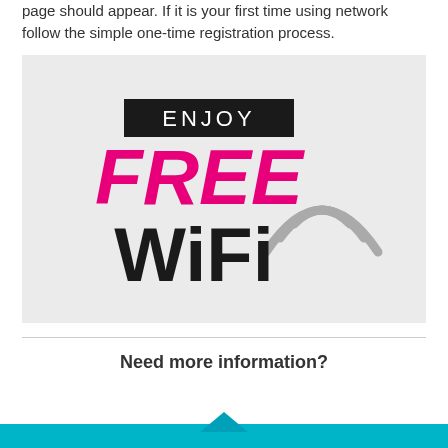page should appear. If it is your first time using network follow the simple one-time registration process.
[Figure (logo): Free WiFi promotional graphic on light grey background. Shows black rectangle with white text 'ENJOY' at top, large pink bold text 'FREE', large black bold text 'WiFi' with grey WiFi signal arcs to the right.]
Need more information?
[Figure (infographic): Teal/cyan colored bar at the bottom of the page with a triangle/arrow pointing upward in the center.]